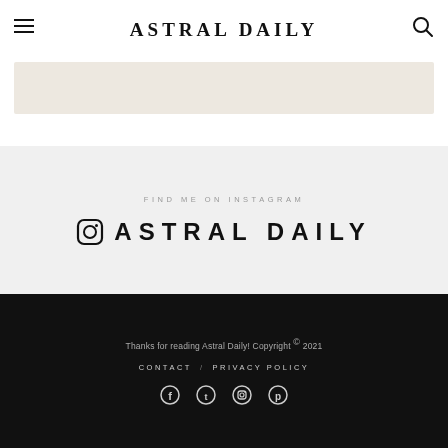ASTRAL DAILY
[Figure (other): Advertisement banner placeholder with light beige background]
FIND ME ON INSTAGRAM
ASTRAL DAILY
Thanks for reading Astral Daily! Copyright © 2021  CONTACT / PRIVACY POLICY